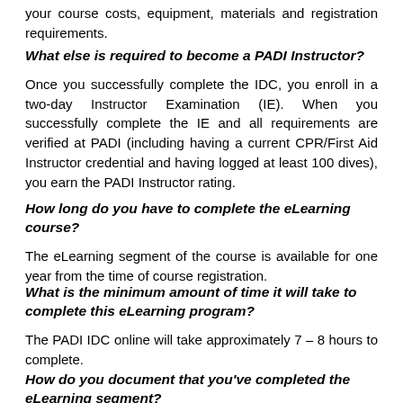your course costs, equipment, materials and registration requirements.
What else is required to become a PADI Instructor?
Once you successfully complete the IDC, you enroll in a two-day Instructor Examination (IE). When you successfully complete the IE and all requirements are verified at PADI (including having a current CPR/First Aid Instructor credential and having logged at least 100 dives), you earn the PADI Instructor rating.
How long do you have to complete the eLearning course?
The eLearning segment of the course is available for one year from the time of course registration.
What is the minimum amount of time it will take to complete this eLearning program?
The PADI IDC online will take approximately 7 – 8 hours to complete.
How do you document that you've completed the eLearning segment?
Once you finish the eLearning portion of the course, Philippine Fun Divers is notified that you have